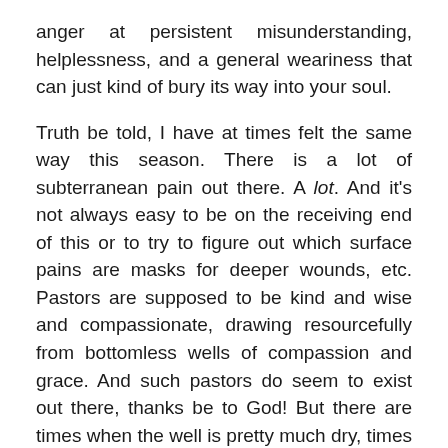anger at persistent misunderstanding, helplessness, and a general weariness that can just kind of bury its way into your soul.
Truth be told, I have at times felt the same way this season. There is a lot of subterranean pain out there. A lot. And it's not always easy to be on the receiving end of this or to try to figure out which surface pains are masks for deeper wounds, etc. Pastors are supposed to be kind and wise and compassionate, drawing resourcefully from bottomless wells of compassion and grace. And such pastors do seem to exist out there, thanks be to God! But there are times when the well is pretty much dry, times when listening and speaking into the brokenness of human lives seems too tall a task, times when I'd rather go paint a fence or wash the dishes or shovel the sidewalk—